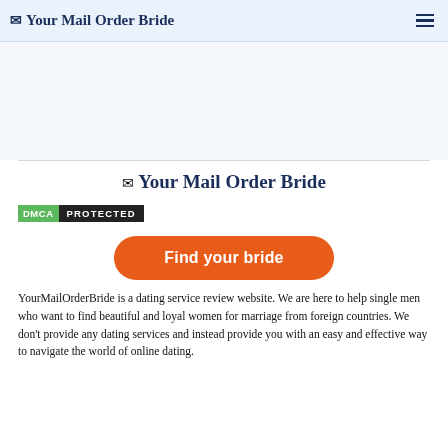Your Mail Order Bride
[Figure (other): Advertisement/blank area]
[Figure (logo): Your Mail Order Bride logo centered]
[Figure (other): DMCA Protected badge]
[Figure (other): Find your bride button (orange rounded)]
YourMailOrderBride is a dating service review website. We are here to help single men who want to find beautiful and loyal women for marriage from foreign countries. We don't provide any dating services and instead provide you with an easy and effective way to navigate the world of online dating.